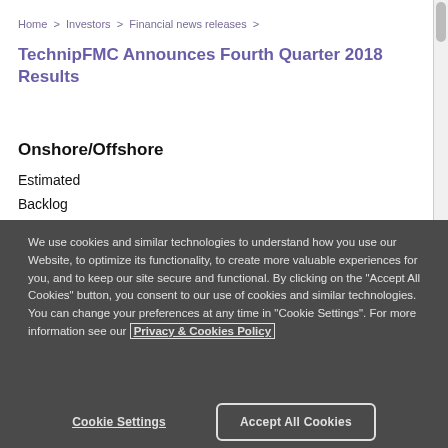Home > Investors > Financial news releases >
TechnipFMC Announces Fourth Quarter 2018 Results
Onshore/Offshore
Estimated
Backlog
We use cookies and similar technologies to understand how you use our Website, to optimize its functionality, to create more valuable experiences for you, and to keep our site secure and functional. By clicking on the "Accept All Cookies" button, you consent to our use of cookies and similar technologies. You can change your preferences at any time in "Cookie Settings". For more information see our Privacy & Cookies Policy
Cookie Settings
Accept All Cookies